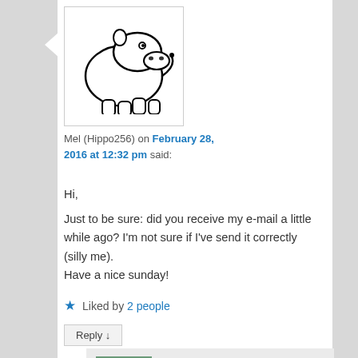[Figure (illustration): Cartoon hippo avatar image in a square bordered box]
Mel (Hippo256) on February 28, 2016 at 12:32 pm said:
Hi,
Just to be sure: did you receive my e-mail a little while ago? I'm not sure if I've send it correctly (silly me).
Have a nice sunday!
★ Liked by 2 people
Reply ↓
luckyotter on February 28, 2016 at 1:07 pm said: